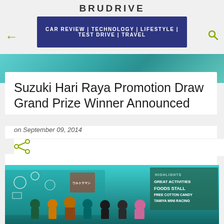BRUDRIVE — CAR REVIEW | TECHNOLOGY | LIFESTYLE | TEST DRIVE | TRAVEL
Suzuki Hari Raya Promotion Draw Grand Prize Winner Announced
on September 09, 2014
[Figure (photo): Group photo of several people posing in front of a colorful event backdrop with text including 'HIGHLIGHTS', 'GREAT ACTIVITIES', 'FOODS STALL', 'FREE COTTON CANDY', 'TAMIYA MINI RACING'. The backdrop features cartoon illustrations.]